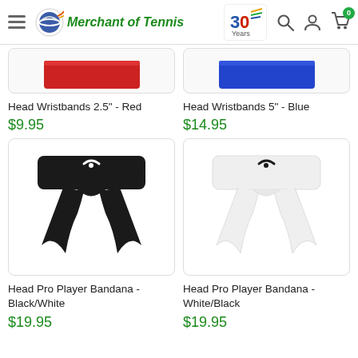Merchant of Tennis - 30 Years
[Figure (photo): Partially visible product image - Head Wristbands 2.5 Red]
[Figure (photo): Partially visible product image - Head Wristbands 5 Blue]
Head Wristbands 2.5" - Red
$9.95
Head Wristbands 5" - Blue
$14.95
[Figure (photo): Head Pro Player Bandana - Black/White, a black headband with tie-back strings and white Head logo]
[Figure (photo): Head Pro Player Bandana - White/Black, a white headband with tie-back strings and black Head logo]
Head Pro Player Bandana - Black/White
Head Pro Player Bandana - White/Black
$19.95
$19.95